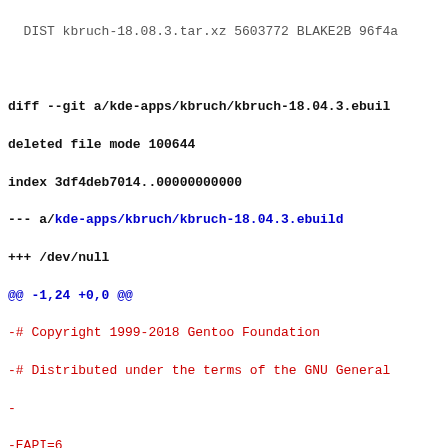DIST kbruch-18.08.3.tar.xz 5603772 BLAKE2B 96f4a...
diff --git a/kde-apps/kbruch/kbruch-18.04.3.ebuild
deleted file mode 100644
index 3df4deb7014..00000000000
--- a/kde-apps/kbruch/kbruch-18.04.3.ebuild
+++ /dev/null
@@ -1,24 +0,0 @@
-# Copyright 1999-2018 Gentoo Foundation
-# Distributed under the terms of the GNU General...
-
-EAPI=6
-
-KDE_HANDBOOK="forceoptional"
-inherit kde5
-
-DESCRIPTION="Educational application to learn ca...
-HOMEPAGE="https://www.kde.org/applications/educa...
-KEYWORDS="amd64 x86"
-IUSE=""
-
-DEPEND="